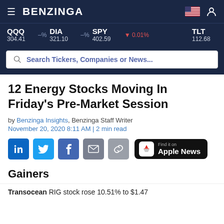BENZINGA
QQQ 304.41 –% DIA 321.10 –% SPY 402.59 ▼ 0.01% TLT 112.68
Search Tickers, Companies or News...
12 Energy Stocks Moving In Friday's Pre-Market Session
by Benzinga Insights, Benzinga Staff Writer
November 20, 2020 8:11 AM | 2 min read
[Figure (infographic): Social share buttons: LinkedIn, Twitter, Facebook, Email, Link, and Apple News badge]
Gainers
Transocean RIG stock rose 10.51% to $1.47